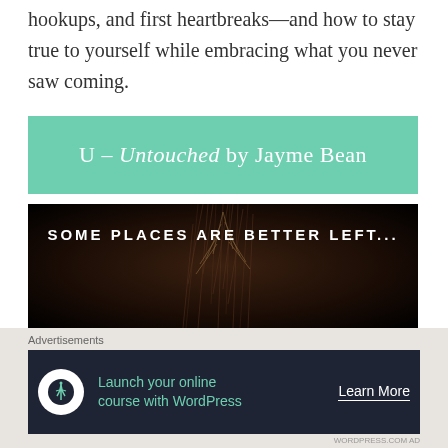hookups, and first heartbreaks—and how to stay true to yourself while embracing what you never saw coming.
[Figure (illustration): Teal/mint green banner with white text reading: U – Untouched by Jayme Bean]
[Figure (photo): Dark atmospheric book cover image with text 'SOME PLACES ARE BETTER LEFT...' in white capital letters over a dark background with bare branches]
Advertisements
[Figure (other): Advertisement banner with dark background, WordPress tree icon, teal text: 'Launch your online course with WordPress', and white 'Learn More' call to action button]